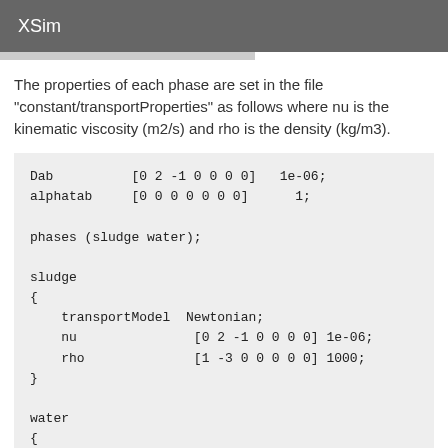XSim
The properties of each phase are set in the file "constant/transportProperties" as follows where nu is the kinematic viscosity (m2/s) and rho is the density (kg/m3).
Dab           [0 2 -1 0 0 0 0]   1e-06;
alphatab     [0 0 0 0 0 0 0]     1;

phases (sludge water);

sludge
{
    transportModel  Newtonian;
    nu              [0 2 -1 0 0 0 0] 1e-06;
    rho             [1 -3 0 0 0 0 0] 1000;
}

water
{
    transportModel  Newtonian;
    nu              [0 2 -1 0 0 0 0] 1e-06;
    rho             [1 -3 0 0 0 0 0] 990;